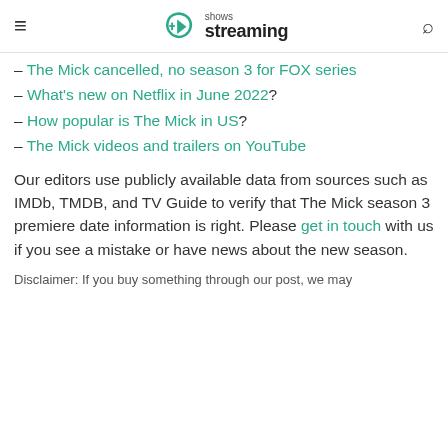shows streaming
– The Mick cancelled, no season 3 for FOX series
– What's new on Netflix in June 2022?
– How popular is The Mick in US?
– The Mick videos and trailers on YouTube
Our editors use publicly available data from sources such as IMDb, TMDB, and TV Guide to verify that The Mick season 3 premiere date information is right. Please get in touch with us if you see a mistake or have news about the new season.
Disclaimer: If you buy something through our post, we may